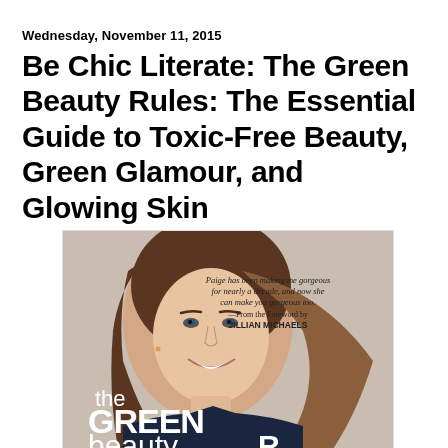Wednesday, November 11, 2015
Be Chic Literate: The Green Beauty Rules: The Essential Guide to Toxic-Free Beauty, Green Glamour, and Glowing Skin
[Figure (photo): Book cover of 'The Green Beauty Rules' showing a smiling woman with brown hair, with a quote 'Paige has been making me gorgeous for nearly a decade, and now she can make you gorgeous too. —From the Foreword by JILLIAN MICHAELS'. The bottom of the cover shows the text 'the GREEN beauty rules' partially visible.]